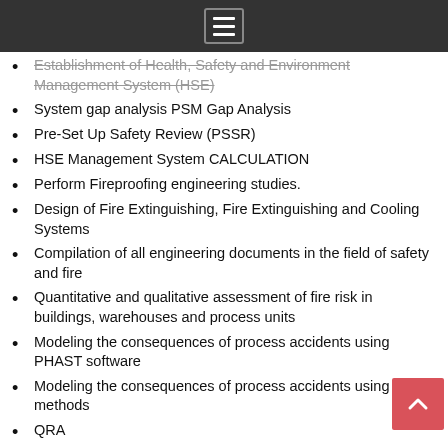menu icon / navigation bar
Establishment of Health, Safety and Environment Management System (HSE)
System gap analysis PSM Gap Analysis
Pre-Set Up Safety Review (PSSR)
HSE Management System CALCULATION
Perform Fireproofing engineering studies.
Design of Fire Extinguishing, Fire Extinguishing and Cooling Systems
Compilation of all engineering documents in the field of safety and fire
Quantitative and qualitative assessment of fire risk in buildings, warehouses and process units
Modeling the consequences of process accidents using PHAST software
Modeling the consequences of process accidents using CFD methods
QRA